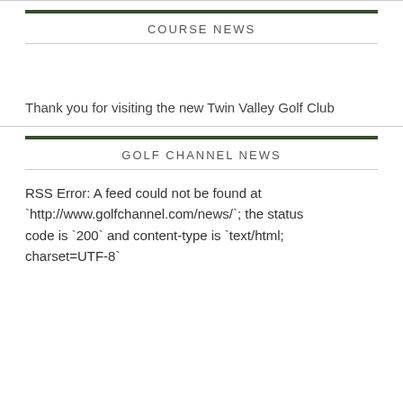COURSE NEWS
Thank you for visiting the new Twin Valley Golf Club
GOLF CHANNEL NEWS
RSS Error: A feed could not be found at `http://www.golfchannel.com/news/`; the status code is `200` and content-type is `text/html; charset=UTF-8`